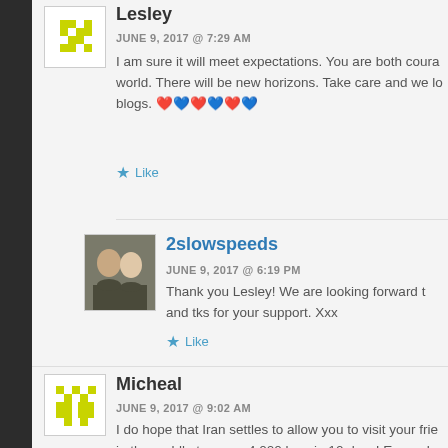Lesley
JUNE 9, 2017 @ 7:29 AM
I am sure it will meet expectations. You are both coura world. There will be new horizons. Take care and we lo blogs. ❤️💙❤️💙❤️💙
Like
2slowspeeds
JUNE 9, 2017 @ 6:19 PM
Thank you Lesley! We are looking forward t and tks for your support. Xxx
Like
Micheal
JUNE 9, 2017 @ 9:02 AM
I do hope that Iran settles to allow you to visit your frie in the saddle to cover 4,000 kms in 10 days! Easy whe Storm and Streak. Lucky you aren't doing it on horseb.